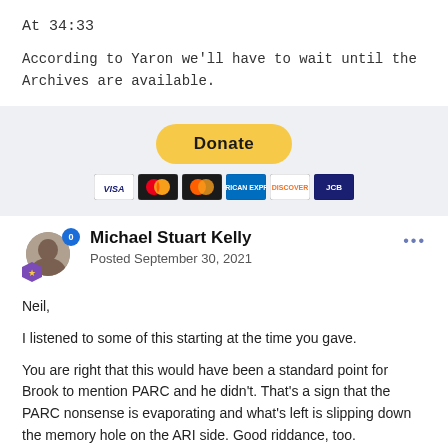At 34:33
According to Yaron we'll have to wait until the Archives are available.
[Figure (infographic): PayPal Donate button with payment card icons (Visa, Mastercard, American Express, Discover, and one more) on a light gray background]
Michael Stuart Kelly
Posted September 30, 2021
Neil,

I listened to some of this starting at the time you gave.

You are right that this would have been a standard point for Brook to mention PARC and he didn't. That's a sign that the PARC nonsense is evaporating and what's left is slipping down the memory hole on the ARI side. Good riddance, too.

But I don't give this much weight in my thinking anymore. That